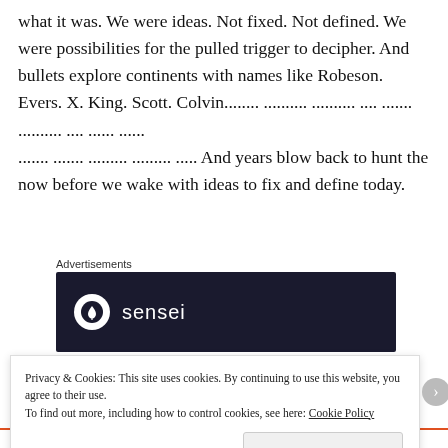what it was. We were ideas. Not fixed. Not defined. We were possibilities for the pulled trigger to decipher. And bullets explore continents with names like Robeson. Evers. X. King. Scott. Colvin........ .......... .......... .... ....... .......... .... ...... ...... ....... ....... ......... ......... ..... And years blow back to hunt the now before we wake with ideas to fix and define today.
Advertisements
[Figure (logo): Dark navy advertisement box with Sensei logo: white circle containing a tree icon, and the word 'sensei' in white text]
Privacy & Cookies: This site uses cookies. By continuing to use this website, you agree to their use.
To find out more, including how to control cookies, see here: Cookie Policy
Close and accept